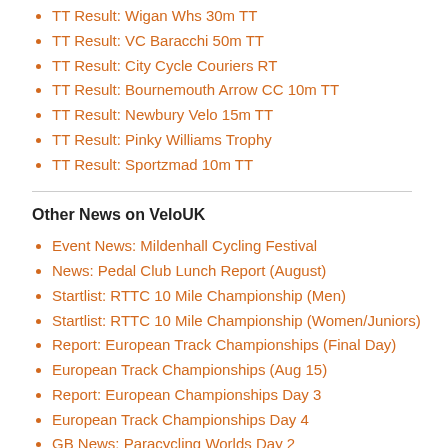TT Result: Wigan Whs 30m TT
TT Result: VC Baracchi 50m TT
TT Result: City Cycle Couriers RT
TT Result: Bournemouth Arrow CC 10m TT
TT Result: Newbury Velo 15m TT
TT Result: Pinky Williams Trophy
TT Result: Sportzmad 10m TT
Other News on VeloUK
Event News: Mildenhall Cycling Festival
News: Pedal Club Lunch Report (August)
Startlist: RTTC 10 Mile Championship (Men)
Startlist: RTTC 10 Mile Championship (Women/Juniors)
Report: European Track Championships (Final Day)
European Track Championships (Aug 15)
Report: European Championships Day 3
European Track Championships Day 4
GB News: Paracycling Worlds Day 2
News: Medals for GB in Germany at Track Euros
News: Ethan Hayter extends contract with Ineos
Startlist: Ryedale Grasscrete Womens Grand Prix
EVENTS: Bath Cycling Club Road Races
Startlists: Manx Telecom International Stage Race